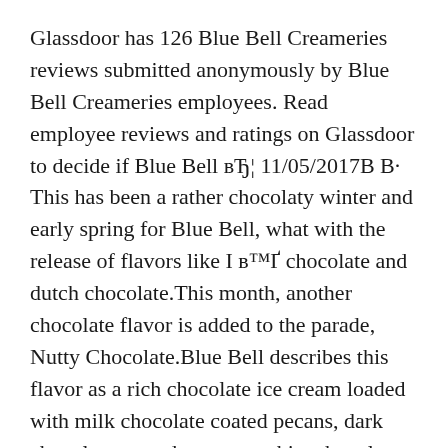Glassdoor has 126 Blue Bell Creameries reviews submitted anonymously by Blue Bell Creameries employees. Read employee reviews and ratings on Glassdoor to decide if Blue Bell вЂ¦ 11/05/2017В В· This has been a rather chocolaty winter and early spring for Blue Bell, what with the release of flavors like I в™Ґ chocolate and dutch chocolate.This month, another chocolate flavor is added to the parade, Nutty Chocolate.Blue Bell describes this flavor as a rich chocolate ice cream loaded with milk chocolate coated pecans, dark chocolate coated peanuts, white chocolate coated almonds and
Glassdoor has 126 Blue Bell Creameries reviews submitted anonymously by Blue Bell Creameries